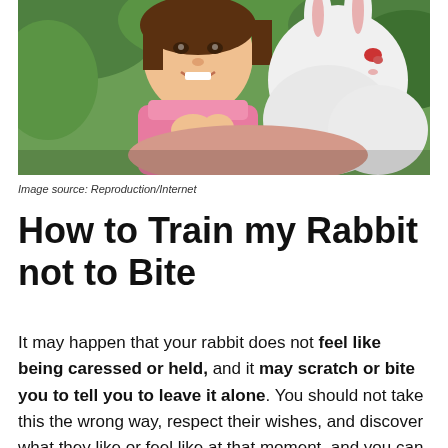[Figure (photo): A smiling young girl in a pink outfit holding a white fluffy rabbit, with green foliage in the background.]
Image source: Reproduction/Internet
How to Train my Rabbit not to Bite
It may happen that your rabbit does not feel like being caressed or held, and it may scratch or bite you to tell you to leave it alone. You should not take this the wrong way, respect their wishes, and discover what they like or feel like at that moment, and you can touch it or take it at another time.